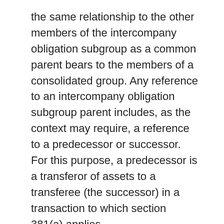the same relationship to the other members of the intercompany obligation subgroup as a common parent bears to the members of a consolidated group. Any reference to an intercompany obligation subgroup parent includes, as the context may require, a reference to a predecessor or successor. For this purpose, a predecessor is a transferor of assets to a transferee (the successor) in a transaction to which section 381(a) applies. (v) Tax benefit is the benefit of, for Federal tax purposes, a net reduction in income or gain, or a net increase in loss.